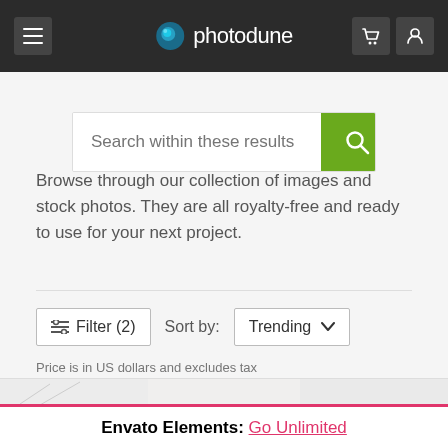photodune
[Figure (screenshot): Search bar with placeholder text 'Search within these results' and a green search button with magnifying glass icon]
Browse through our collection of images and stock photos. They are all royalty-free and ready to use for your next project.
Filter (2)   Sort by: Trending
Price is in US dollars and excludes tax
[Figure (photo): Partial view of stock photo thumbnails showing animals including a dog, a bird, and other pets on white/gray backgrounds]
Envato Elements: Go Unlimited